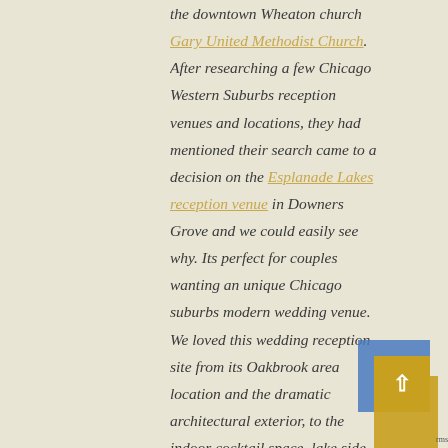the downtown Wheaton church Gary United Methodist Church. After researching a few Chicago Western Suburbs reception venues and locations, they had mentioned their search came to a decision on the Esplanade Lakes reception venue in Downers Grove and we could easily see why. Its perfect for couples wanting an unique Chicago suburbs modern wedding venue. We loved this wedding reception site from its Oakbrook area location and the dramatic architectural exterior, to the indoor cocktail space, lake side ballroom and balcony, we were